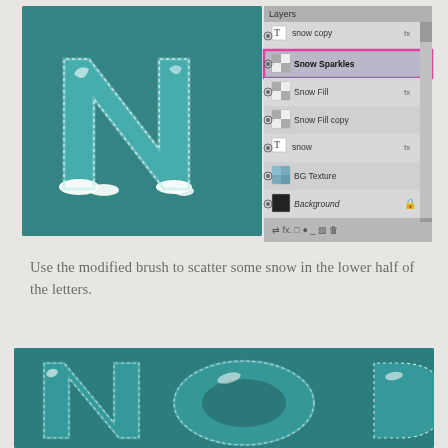[Figure (screenshot): Photoshop layers panel showing layers: snow copy, Snow Sparkles (highlighted), Snow Fill, Snow Fill copy, snow, BG Texture, Background. Left side shows a teal glassy letter N with white snow at the base and stitched border effect.]
Use the modified brush to scatter some snow in the lower half of the letters.
[Figure (screenshot): Cropped image showing teal glassy letters (N, O visible) with stitched dotted border on a dark teal textured background. No snow visible yet.]